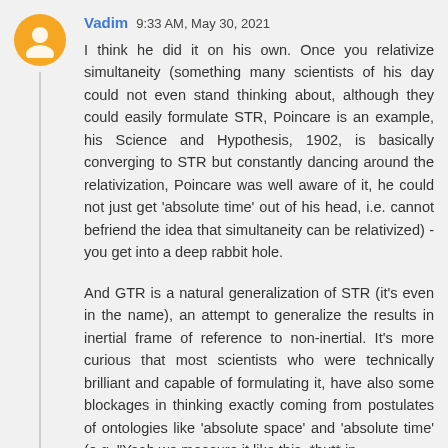Vadim  9:33 AM, May 30, 2021
I think he did it on his own. Once you relativize simultaneity (something many scientists of his day could not even stand thinking about, although they could easily formulate STR, Poincare is an example, his Science and Hypothesis, 1902, is basically converging to STR but constantly dancing around the relativization, Poincare was well aware of it, he could not just get 'absolute time' out of his head, i.e. cannot befriend the idea that simultaneity can be relativized) - you get into a deep rabbit hole.
And GTR is a natural generalization of STR (it's even in the name), an attempt to generalize the results in inertial frame of reference to non-inertial. It's more curious that most scientists who were technically brilliant and capable of formulating it, have also some blockages in thinking exactly coming from postulates of ontologies like 'absolute space' and 'absolute time' (e.g. "Yeah we measure it like this, *but* in